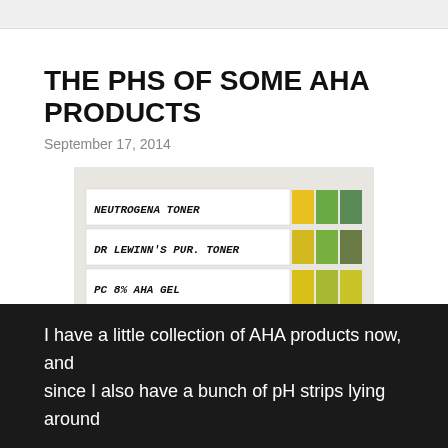THE PHS OF SOME AHA PRODUCTS
September 17, 2014
[Figure (photo): Photo of pH strip test results for three skincare products: Neutrogena Toner, Dr. Lewinn's Pur. Toner, and PC 8% AHA Gel, shown against a pH color reference chart. Watermark reads 'labmuffin'.]
I have a little collection of AHA products now, and since I also have a bunch of pH strips lying around